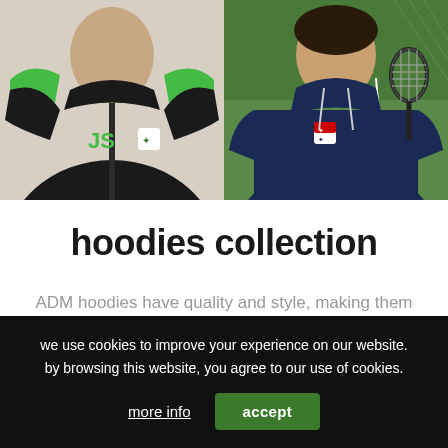[Figure (photo): Two photos side by side: left shows a person wearing a black hoodie with green accents and 'JS' monogram; right shows a person in a navy blue hoodie holding a tennis racket, outdoors on a court.]
hoodies collection
ADM hoodies have quality and style, making them some of the best around. Our hoodies are
we use cookies to improve your experience on our website. by browsing this website, you agree to our use of cookies.
more info   accept